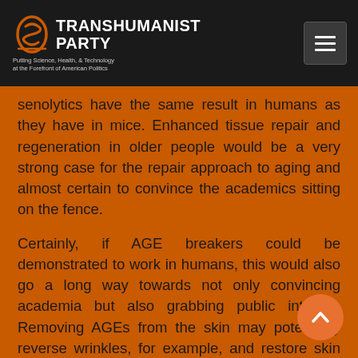Transhumanist Party — Putting Science, Health, & Technology at the Forefront of American Politics
senolytics have the same result in humans as they have in mice. Enhanced tissue repair and regeneration in older people would be a very strong case for the repair approach to aging and almost certain to convince the academics sitting on the fence.
Certainly, if AGE breakers could be demonstrated to work in humans, this would also go a long way towards not only convincing academia but also grabbing public interest. Removing AGEs from the skin may potentially reverse wrinkles, for example, and restore skin elasticity, offering a very visual demonstration of repair being plausible.
There is almost certainly going to be a tipping point at